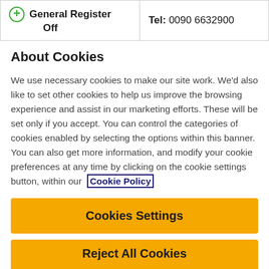| General Register Off | Tel: 0090 6632900 |
About Cookies
We use necessary cookies to make our site work. We'd also like to set other cookies to help us improve the browsing experience and assist in our marketing efforts. These will be set only if you accept. You can control the categories of cookies enabled by selecting the options within this banner. You can also get more information, and modify your cookie preferences at any time by clicking on the cookie settings button, within our Cookie Policy
Cookies Settings
Reject All Cookies